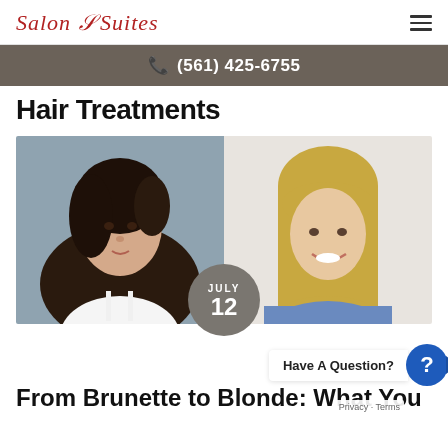Salon & Suites
(561) 425-6755
Hair Treatments
[Figure (photo): Side-by-side photo of two women: left side shows a brunette woman with long curly dark hair against a grey background; right side shows a blonde woman with long straight blonde hair smiling against a light background. A circular date badge reads JULY 12. A 'Have A Question?' chat button appears at bottom right.]
From Brunette to Blonde: What You